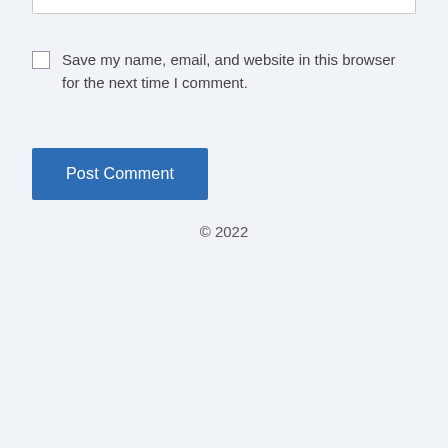Save my name, email, and website in this browser for the next time I comment.
Post Comment
© 2022